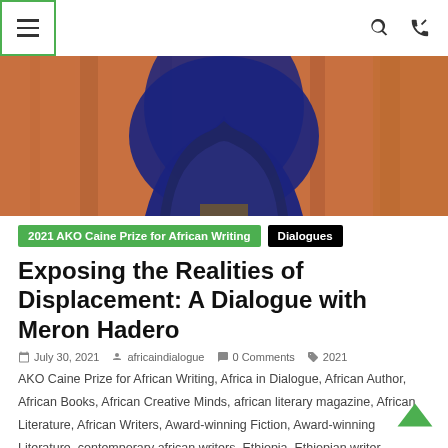Menu | Search | Shuffle
[Figure (photo): Partial view of a person wearing a dark blue ruffled outfit against an orange/brick wall background]
2021 AKO Caine Prize for African Writing | Dialogues
Exposing the Realities of Displacement: A Dialogue with Meron Hadero
July 30, 2021  africaindialogue  0 Comments  2021 AKO Caine Prize for African Writing, Africa in Dialogue, African Author, African Books, African Creative Minds, african literary magazine, African Literature, African Writers, Award-winning Fiction, Award-winning Literature, contemporary african writers, Ethiopia, Ethiopian writer, featured, fiction, life writing, Meron Hadero, Saliha Haddad, short stories from africa